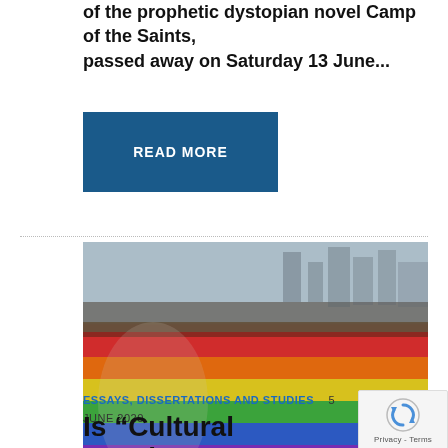of the prophetic dystopian novel Camp of the Saints, passed away on Saturday 13 June...
READ MORE
[Figure (photo): A person wearing a white t-shirt with a rainbow and Polish eagle emblem holds a large rainbow pride flag at a street parade. Crowds and city buildings are visible in the background.]
ESSAYS, DISSERTATIONS AND STUDIES   5 JUNE 2020
Is “Cultural Marxism” a